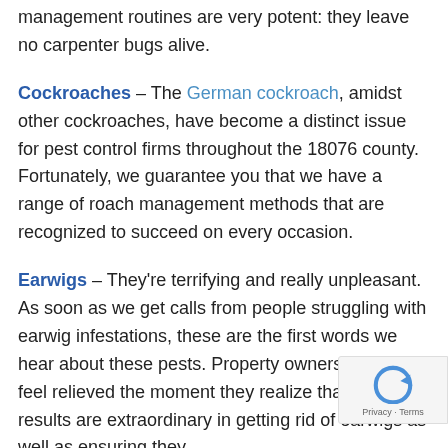management routines are very potent: they leave no carpenter bugs alive.
Cockroaches – The German cockroach, amidst other cockroaches, have become a distinct issue for pest control firms throughout the 18076 county. Fortunately, we guarantee you that we have a range of roach management methods that are recognized to succeed on every occasion.
Earwigs – They're terrifying and really unpleasant. As soon as we get calls from people struggling with earwig infestations, these are the first words we hear about these pests. Property owners always feel relieved the moment they realize that our results are extraordinary in getting rid of earwigs as well as ensuring they don't...